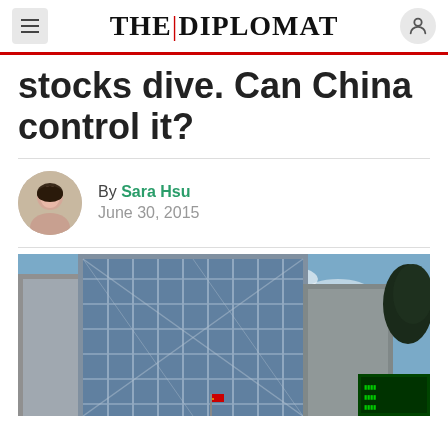THE|DIPLOMAT
stocks dive. Can China control it?
By Sara Hsu
June 30, 2015
[Figure (photo): Low-angle view of a modern glass and steel skyscraper against a partly cloudy blue sky, with surrounding buildings and a green LED ticker board visible at lower right.]